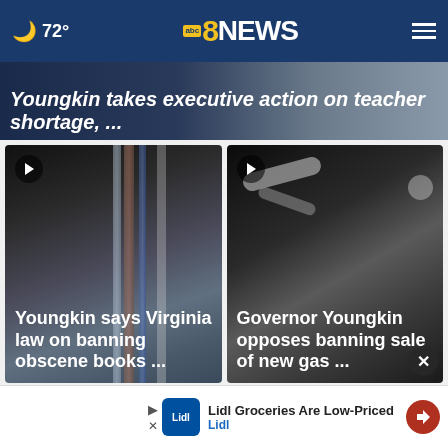72° abc8NEWS
[Figure (screenshot): Top news story banner: Youngkin takes executive action on teacher shortage, ...]
Youngkin takes executive action on teacher shortage, ...
[Figure (photo): Video thumbnail: books on shelves in a library]
Youngkin says Virginia law on banning obscene books ...
[Figure (photo): Video thumbnail: close-up of gas pump nozzle]
Governor Youngkin opposes banning sale of new gas ...
[Figure (screenshot): Advertisement: Lidl Groceries Are Low-Priced. Lidl.]